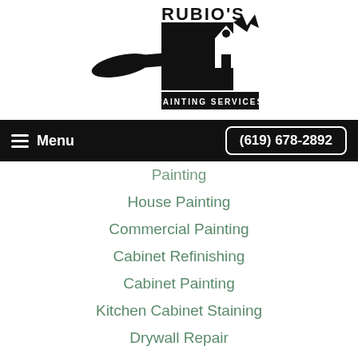[Figure (logo): Rubio's Painting Services logo — paintbrush and house silhouette in black with 'RUBIO'S PAINTING SERVICES' text]
≡ Menu  (619) 678-2892
Painting
House Painting
Commercial Painting
Cabinet Refinishing
Cabinet Painting
Kitchen Cabinet Staining
Drywall Repair
Pressure Washing
Concrete Cleaning